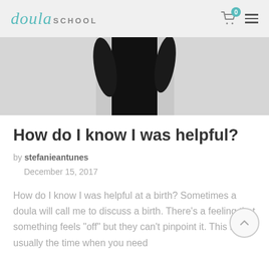doula SCHOOL
[Figure (photo): Partial view of a person wearing all black, photographed from waist down, against a light grey background]
How do I know I was helpful?
by stefanieantunes
December 15, 2017
How do I know I was helpful at a birth? Sometimes a doula will call me to discuss a birth. There’s a feeling that something feels “off” but they can’t pinpoint it. This is usually the time when you need